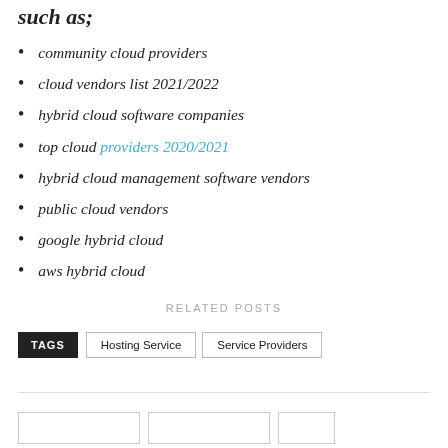such as:
community cloud providers
cloud vendors list 2021/2022
hybrid cloud software companies
top cloud providers 2020/2021
hybrid cloud management software vendors
public cloud vendors
google hybrid cloud
aws hybrid cloud
RELATED POSTS
TAGS   Hosting Service   Service Providers